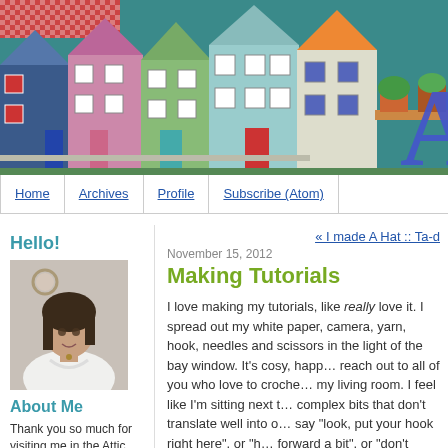[Figure (illustration): Blog header banner showing colorful illustrated houses in a row against a teal background, with a large letter 'A' partially visible on the right side.]
Home | Archives | Profile | Subscribe (Atom)
Hello!
[Figure (photo): Portrait photo of a woman with dark brown hair, wearing a white top and a necklace, photographed against a light grey background with a decorative hoop on the wall behind her.]
About Me
Thank you so much for visiting me in the Attic, it's lovely to see you. My name is Lucy and I'm a
« I made A Hat :: Ta-d
November 15, 2012
Making Tutorials
I love making my tutorials, like really love it. I spread out my white paper, camera, yarn, hook, needles and scissors in the light of the bay window. It's cosy, happy work. I love to reach out to all of you who love to crochet from my living room. I feel like I'm sitting next to complex bits that don't translate well into o say "look, put your hook right here", or "he forward a bit", or "don't forget to crochet o
[Figure (photo): Partial view of a photo showing a dark green/olive colored surface, likely a tutorial crafting setup.]